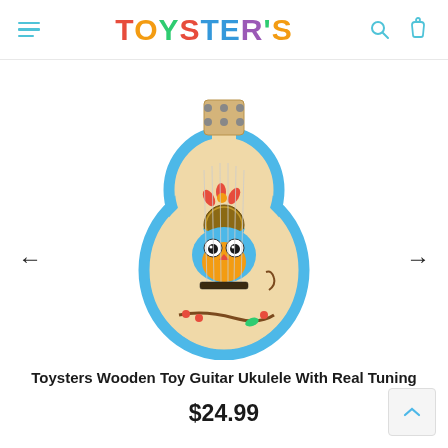TOYSTER'S — navigation header with hamburger menu, logo, search and cart icons
[Figure (photo): Toysters wooden toy guitar ukulele with owl design painted on the body, light wood color with blue trim, sitting on white background]
Toysters Wooden Toy Guitar Ukulele With Real Tuning
$24.99